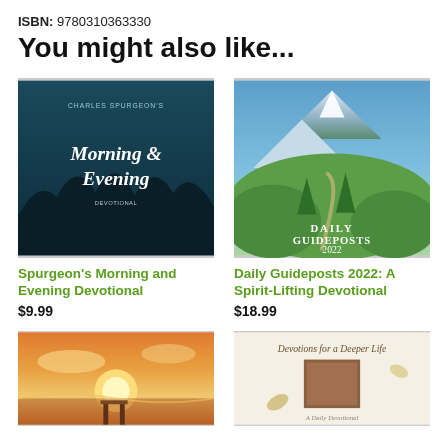ISBN: 9780310363330
You might also like...
[Figure (illustration): Book cover: Spurgeon's Morning and Evening Devotional - dark teal cover with forest silhouette and italic title text]
Spurgeon's Morning and Evening Devotional
$9.99
[Figure (illustration): Book cover: Daily Guideposts 2022 - photograph of alpine mountain scene with green trees and a winding path]
Daily Guideposts 2022: A Spirit-Lifting Devotional
$18.99
[Figure (illustration): Book cover: partially visible - sunset over water/beach scene]
[Figure (illustration): Book cover: Devotions for a Deeper Life - cream/beige cover with handwritten title and small square image]